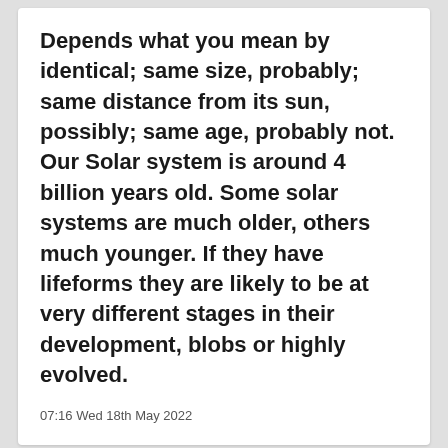Depends what you mean by identical; same size, probably; same distance from its sun, possibly; same age, probably not. Our Solar system is around 4 billion years old. Some solar systems are much older, others much younger. If they have lifeforms they are likely to be at very different stages in their development, blobs or highly evolved.
07:16 Wed 18th May 2022